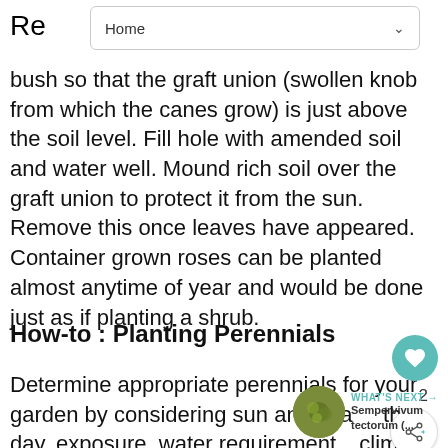Home
Re bush so that the graft union (swollen knob from which the canes grow) is just above the soil level. Fill hole with amended soil and water well. Mound rich soil over the graft union to protect it from the sun. Remove this once leaves have appeared. Container grown roses can be planted almost anytime of year and would be done just as if planting a shrub.
How-to : Planting Perennials
Determine appropriate perennials for your garden by considering sun and shade the day, exposure, water requirements, climate, soil makeup, seasonal color desired,
[Figure (other): Heart/like button showing teal circle with white heart icon and count of 2, plus a share button below it]
[Figure (other): What's Next widget showing a circular thumbnail image of Sempervivum tectorum plant with label text 'WHAT'S NEXT → Sempervivum tectorum (...']